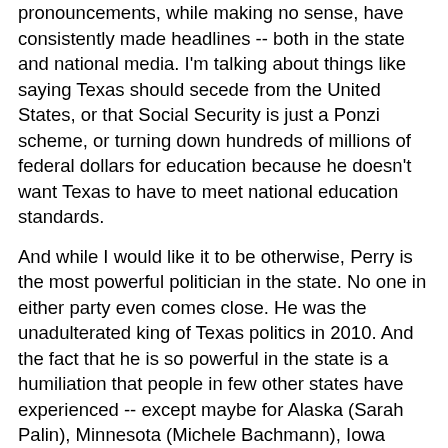pronouncements, while making no sense, have consistently made headlines -- both in the state and national media.   I'm talking about things like saying Texas should secede from the United States, or that Social Security is just a Ponzi scheme, or turning down hundreds of millions of federal dollars for education because he doesn't want Texas to have to meet national education standards.
And while I would like it to be otherwise, Perry is the most powerful politician in the state.   No one in either party even comes close.   He was the unadulterated king of Texas politics in 2010.   And the fact that he is so powerful in the state is a humiliation that people in few other states have experienced -- except maybe for Alaska (Sarah Palin), Minnesota (Michele Bachmann), Iowa (Peter King), Arizona (Jan Brewer), Oklahoma (Tom Coburn) and Mississippi (Haley Barbour).
Rick Perry is not a good person or a good governor (and I sincerely hope he doesn't run for national office, since he would be even worse than George Bush).   But I reluctantly agree with the DMN, he probably is the "Texan of the Year" - - to the state's great shame.   Now I need a few drinks to get